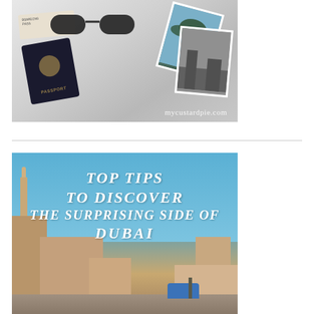[Figure (photo): Black and white flat lay photo showing a UK passport, sunglasses, travel photos/postcards with palm trees, and a boarding ticket on a white surface. Watermark 'mycustardpie.com' in bottom right.]
[Figure (photo): Photo of Dubai old town/waterfront with blue sky, historic buildings and a tower structure visible on the left, a small blue boat shelter on the water at right. White text overlay reads 'TOP TIPS TO DISCOVER THE SURPRISING SIDE OF DUBAI' in a decorative serif italic font.]